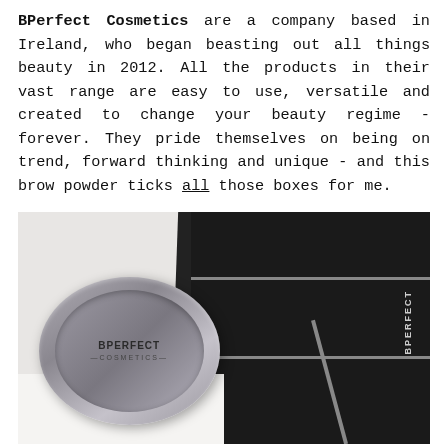BPerfect Cosmetics are a company based in Ireland, who began beasting out all things beauty in 2012. All the products in their vast range are easy to use, versatile and created to change your beauty regime - forever. They pride themselves on being on trend, forward thinking and unique - and this brow powder ticks all those boxes for me.
[Figure (photo): Photo of BPerfect Cosmetics brow powder compact (round, grey, with BPerfect Cosmetics logo on lid) beside dark black rectangular packaging boxes with BPerfect branding, arranged on a white surface.]